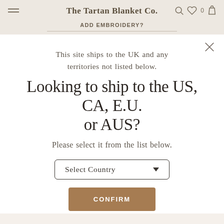The Tartan Blanket Co.
ADD EMBROIDERY?
This site ships to the UK and any territories not listed below.
Looking to ship to the US, CA, E.U. or AUS?
Please select it from the list below.
Select Country
CONFIRM